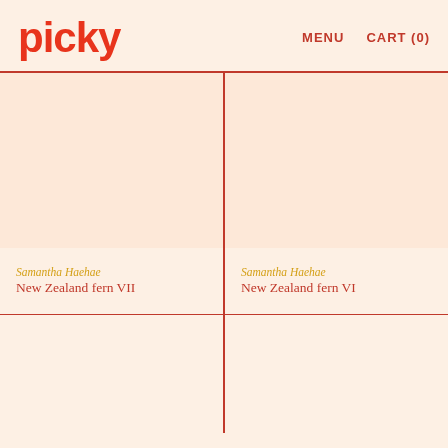picky   MENU   CART (0)
[Figure (photo): Product image placeholder for New Zealand fern VII]
[Figure (photo): Product image placeholder for New Zealand fern VI]
Samantha Haehae
New Zealand fern VII
Samantha Haehae
New Zealand fern VI
[Figure (photo): Product image placeholder (bottom left)]
[Figure (photo): Product image placeholder (bottom right)]